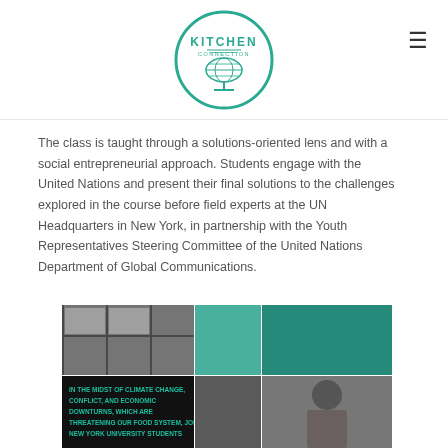Kitchen Connection logo and navigation
The class is taught through a solutions-oriented lens and with a social entrepreneurial approach. Students engage with the United Nations and present their final solutions to the challenges explored in the course before field experts at the UN Headquarters in New York, in partnership with the Youth Representatives Steering Committee of the United Nations Department of Global Communications.
[Figure (photo): Photo collage showing industrial/window scene, teal walls, and a person, with overlay text reading: IN THE MIDST OF CLIMATE CHANGE, CONFLICT, AND ECONOMIC DOWNTURNS, WHICH ARE THREATENING OUR FOOD SYSTEM, JOIN NEW YORK UNIVERSITY STUDENTS]